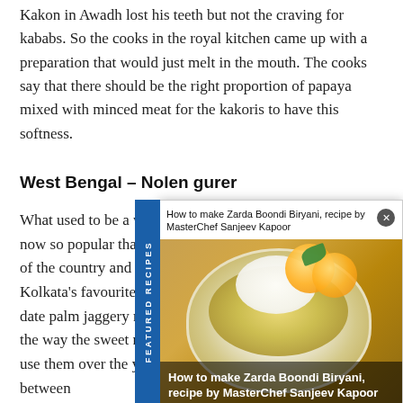Kakon in Awadh lost his teeth but not the craving for kababs. So the cooks in the royal kitchen came up with a preparation that would just melt in the mouth. The cooks say that there should be the right proportion of papaya mixed with minced meat for the kakoris to have this softness.
West Bengal – Nolen gurer
What used to be a w... now so popular that... of the country and a... Kolkata's favourite –... date palm jaggery m... the way the sweet ma... use them over the years certainly is. Enclosed between
[Figure (screenshot): Popup overlay showing a food video thumbnail with text 'How to make Zarda Boondi Biryani, recipe by MasterChef Sanjeev Kapoor' and a close button. The image shows a bowl of yellow rice garnished with cream, orange slices, and mint leaves. A blue vertical sidebar tab on the left reads 'FEATURED RECIPES'.]